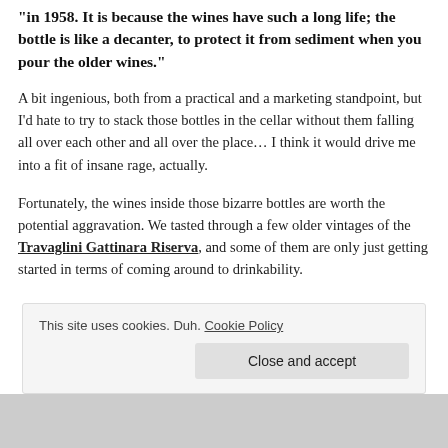“in 1958. It is because the wines have such a long life; the bottle is like a decanter, to protect it from sediment when you pour the older wines.”
A bit ingenious, both from a practical and a marketing standpoint, but I’d hate to try to stack those bottles in the cellar without them falling all over each other and all over the place… I think it would drive me into a fit of insane rage, actually.
Fortunately, the wines inside those bizarre bottles are worth the potential aggravation. We tasted through a few older vintages of the Travaglini Gattinara Riserva, and some of them are only just getting started in terms of coming around to drinkability.
This site uses cookies. Duh. Cookie Policy
Close and accept